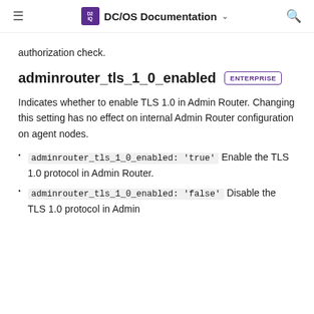DC/OS Documentation
authorization check.
adminrouter_tls_1_0_enabled  ENTERPRISE
Indicates whether to enable TLS 1.0 in Admin Router. Changing this setting has no effect on internal Admin Router configuration on agent nodes.
adminrouter_tls_1_0_enabled: 'true'  Enable the TLS 1.0 protocol in Admin Router.
adminrouter_tls_1_0_enabled: 'false'  Disable the TLS 1.0 protocol in Admin